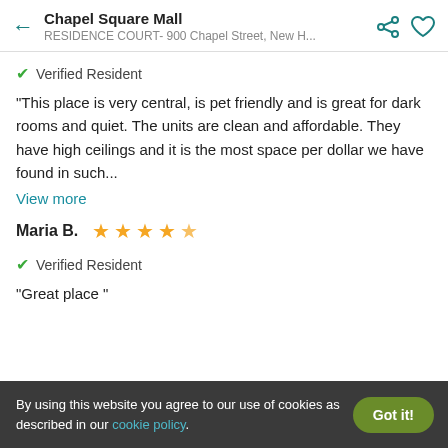Chapel Square Mall
RESIDENCE COURT- 900 Chapel Street, New H...
✔ Verified Resident
"This place is very central, is pet friendly and is great for dark rooms and quiet. The units are clean and affordable. They have high ceilings and it is the most space per dollar we have found in such...
View more
Maria B.   ★★★★½
✔ Verified Resident
"Great place "
By using this website you agree to our use of cookies as described in our cookie policy.